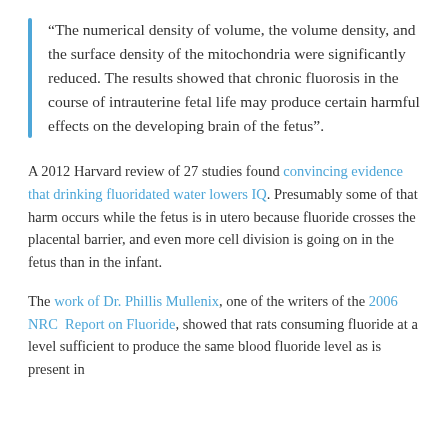“The numerical density of volume, the volume density, and the surface density of the mitochondria were significantly reduced. The results showed that chronic fluorosis in the course of intrauterine fetal life may produce certain harmful effects on the developing brain of the fetus”.
A 2012 Harvard review of 27 studies found convincing evidence that drinking fluoridated water lowers IQ. Presumably some of that harm occurs while the fetus is in utero because fluoride crosses the placental barrier, and even more cell division is going on in the fetus than in the infant.
The work of Dr. Phillis Mullenix, one of the writers of the 2006 NRC Report on Fluoride, showed that rats consuming fluoride at a level sufficient to produce the same blood fluoride level as is present in